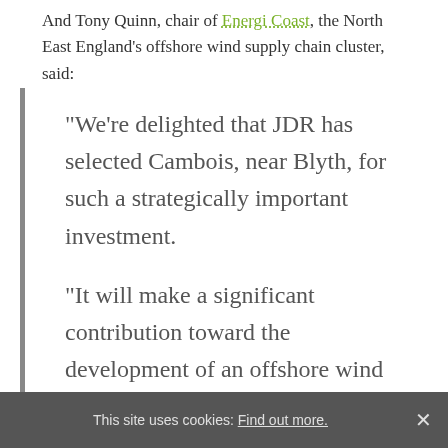And Tony Quinn, chair of Energi Coast, the North East England's offshore wind supply chain cluster, said:
“We’re delighted that JDR has selected Cambois, near Blyth, for such a strategically important investment.
“It will make a significant contribution toward the development of an offshore wind industrial cluster in the North East,
This site uses cookies: Find out more.